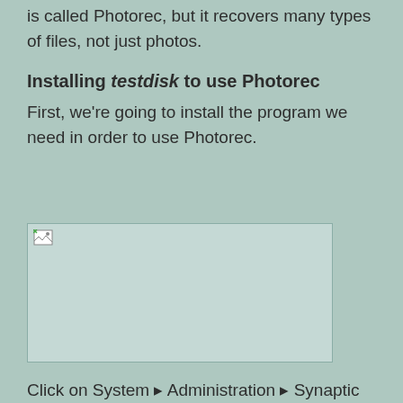is called Photorec, but it recovers many types of files, not just photos.
Installing testdisk to use Photorec
First, we're going to install the program we need in order to use Photorec.
[Figure (screenshot): A screenshot placeholder image (broken/missing image icon) showing a UI dialog or screen related to installing testdisk/Photorec.]
Click on System ▸ Administration ▸ Synaptic